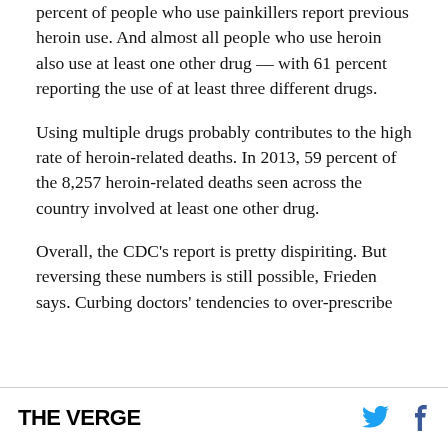percent of people who use painkillers report previous heroin use. And almost all people who use heroin also use at least one other drug — with 61 percent reporting the use of at least three different drugs.
Using multiple drugs probably contributes to the high rate of heroin-related deaths. In 2013, 59 percent of the 8,257 heroin-related deaths seen across the country involved at least one other drug.
Overall, the CDC's report is pretty dispiriting. But reversing these numbers is still possible, Frieden says. Curbing doctors' tendencies to over-prescribe
THE VERGE